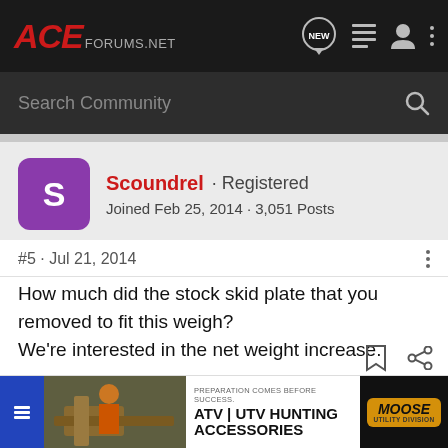ACE FORUMS.NET
Search Community
Scoundrel · Registered
Joined Feb 25, 2014 · 3,051 Posts
#5 · Jul 21, 2014
How much did the stock skid plate that you removed to fit this weigh?
We're interested in the net weight increase.
[Figure (screenshot): ATV | UTV Hunting Accessories advertisement banner with Moose Utility Division logo]